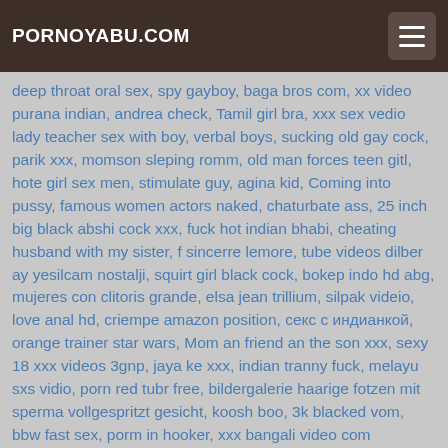PORNOYABU.COM
deep throat oral sex, spy gayboy, baga bros com, xx video purana indian, andrea check, Tamil girl bra, xxx sex vedio lady teacher sex with boy, verbal boys, sucking old gay cock, parik xxx, momson sleping romm, old man forces teen gitl, hote girl sex men, stimulate guy, agina kid, Coming into pussy, famous women actors naked, chaturbate ass, 25 inch big black abshi cock xxx, fuck hot indian bhabi, cheating husband with my sister, f sincerre lemore, tube videos dilber ay yesilcam nostalji, squirt girl black cock, bokep indo hd abg, mujeres con clitoris grande, elsa jean trillium, silpak videio, love anal hd, criempe amazon position, секс с индианкой, orange trainer star wars, Mom an friend an the son xxx, sexy 18 xxx videos 3gnp, jaya ke xxx, indian tranny fuck, melayu sxs vidio, porn red tubr free, bildergalerie haarige fotzen mit sperma vollgespritzt gesicht, koosh boo, 3k blacked vom, bbw fast sex, porm in hooker, xxx bangali video com